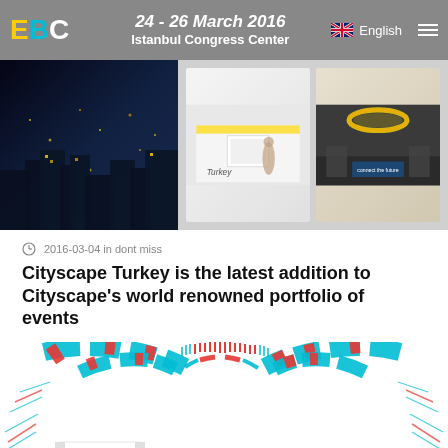EBC — 24 - 26 March 2016, Istanbul Congress Center | English
[Figure (photo): Top strip with three photos: aerial night view of Istanbul Congress Center on the left, and two exhibition booth photos on the right]
2016-03-04 in dont miss
Cityscape Turkey is the latest addition to Cityscape's world renowned portfolio of events
[Figure (infographic): Circular infographic with concentric rings in teal and red segments representing data, with Istanbul skyline silhouette in the center background]